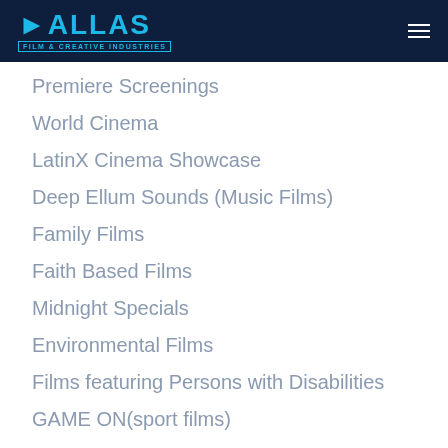DALLAS FILM & CREATIVE INDUSTRIES
Premiere Screenings
World Cinema
LatinX Cinema Showcase
Deep Ellum Sounds (Music Films)
Family Films
Faith Based Films
Midnight Specials
Environmental Films
Films featuring Persons with Disabilities
GAME ON(sport films)
Episodic TV/web series
Veteran Films